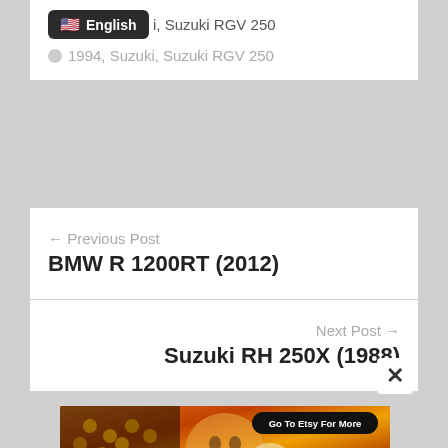English  i, Suzuki RGV 250
1994, Suzuki, Suzuki RGV 250
← Previous Post
BMW R 1200RT (2012)
Next Post →
Suzuki RH 250X (1988)
[Figure (illustration): Jurga Creations art advertisement banner with colorful painting of a face with bees and honeycomb patterns, with 'Go To Etsy For More' button]